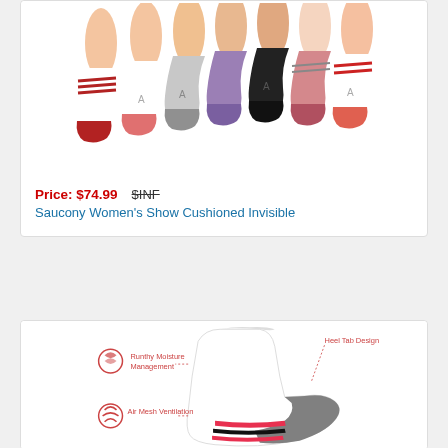[Figure (photo): Product image showing multiple pairs of women's ankle socks in various colors including white, gray, purple, black, coral, and striped patterns]
Price: $74.99   $INF
Saucony Women's Show Cushioned Invisible
[Figure (photo): Product image of a single white ankle sock with gray and pink/red stripe details, with labels showing 'Runthy Moisture Management', 'Heel Tab Design', and 'Air Mesh Ventilation']